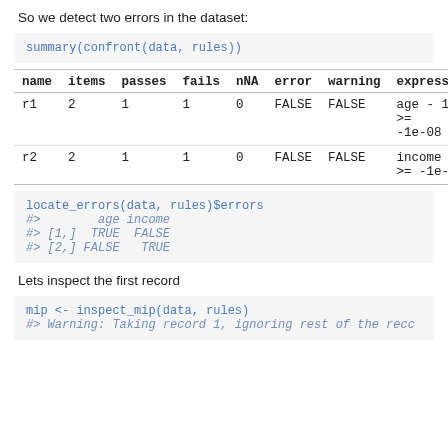So we detect two errors in the dataset:
summary(confront(data, rules))
| name | items | passes | fails | nNA | error | warning | expression |
| --- | --- | --- | --- | --- | --- | --- | --- |
| r1 | 2 | 1 | 1 | 0 | FALSE | FALSE | age - 18 >= -1e-08 |
| r2 | 2 | 1 | 1 | 0 | FALSE | FALSE | income - 0 >= -1e-08 |
locate_errors(data, rules)$errors
#>        age income
#> [1,]  TRUE  FALSE
#> [2,] FALSE   TRUE
Lets inspect the first record
mip <- inspect_mip(data, rules)
#> Warning: Taking record 1, ignoring rest of the reco